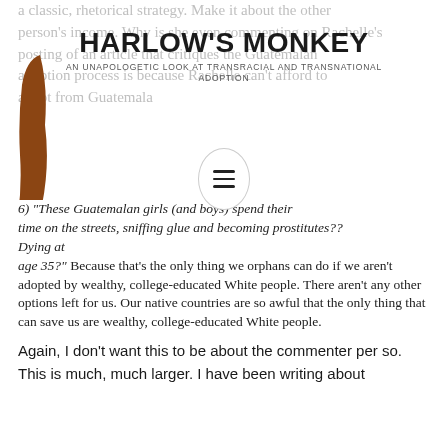a classic, rhetorical strategy. Make it about the other person's income. Why is she even commenting on Rachelle's posting of an article that critiques the Guatemalan adoption process is because Rachelle can't afford to adopt from Guatemala
HARLOW'S MONKEY
AN UNAPOLOGETIC LOOK AT TRANSRACIAL AND TRANSNATIONAL ADOPTION
6) "These Guatemalan girls (and boys) spend their time on the streets, sniffing glue and becoming prostitutes?? Dying at age 35?" Because that's the only thing we orphans can do if we aren't adopted by wealthy, college-educated White people. There aren't any other options left for us. Our native countries are so awful that the only thing that can save us are wealthy, college-educated White people.
Again, I don't want this to be about the commenter per so. This is much, much larger. I have been writing about